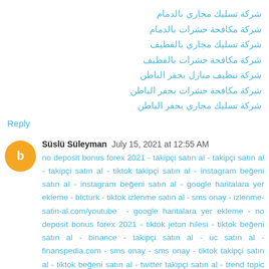شركة تسليك مجاري بالدمام
شركة مكافحة حشرات بالدمام
شركة تسليك مجاري بالقطيف
شركة مكافحة حشرات بالقطيف
شركة تنظيف منازل بحفر الباطن
شركة مكافحة حشرات بحفر الباطن
شركة تسليك مجاري بحفر الباطن
Reply
Süslü Süleyman  July 15, 2021 at 12:55 AM
no deposit bonus forex 2021 - takipçi satın al - takipçi satın al - takipçi satın al - tiktok takipçi satın al - instagram beğeni satın al - instagram beğeni satın al - google haritalara yer ekleme - btcturk - tiktok izlenme satın al - sms onay - izlenme-satin-al.com/youtube - google haritalara yer ekleme - no deposit bonus forex 2021 - tiktok jeton hilesi - tiktok beğeni satın al - binance - takipçi satın al - uc satın al - finanspedia.com - sms onay - sms onay - tiktok takipçi satın al - tiktok beğeni satın al - twitter takipçi satın al - trend topic satın al - youtube abone satın al - instagram beğeni satın al - tiktok beğeni satın al - twitter takipçi satın